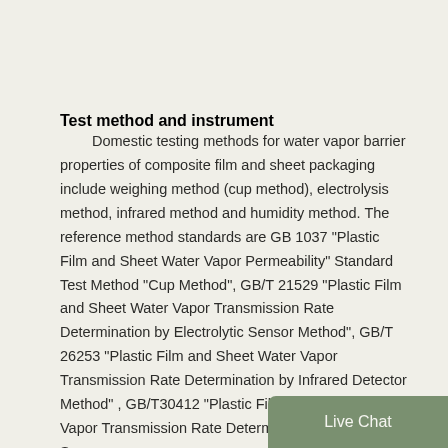Test method and instrument
Domestic testing methods for water vapor barrier properties of composite film and sheet packaging include weighing method (cup method), electrolysis method, infrared method and humidity method. The reference method standards are GB 1037 "Plastic Film and Sheet Water Vapor Permeability" Standard Test Method "Cup Method", GB/T 21529 "Plastic Film and Sheet Water Vapor Transmission Rate Determination by Electrolytic Sensor Method", GB/T 26253 "Plastic Film and Sheet Water Vapor Transmission Rate Determination by Infrared Detector Method" , GB/T30412 "Plastic Film and Sheet Water Vapor Transmission Rate Determination of Humidity Sensor